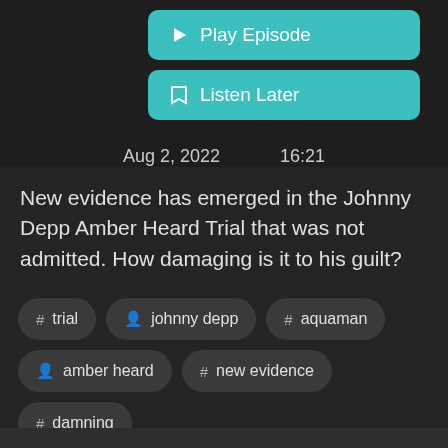[Figure (screenshot): Play Episode button — teal rounded rectangle with play triangle icon]
[Figure (screenshot): Listen Later button — teal rounded rectangle with bookmark icon]
Aug 2, 2022    16:21
New evidence has emerged in the Johnny Depp Amber Heard Trial that was not admitted. How damaging is it to his guilt?
# trial
person johnny depp
# aquaman
person amber heard
# new evidence
# damning